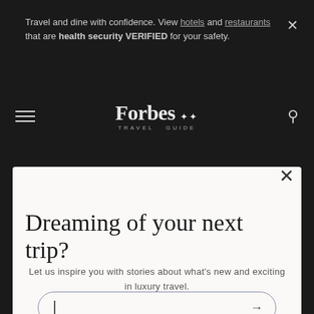Travel and dine with confidence. View hotels and restaurants that are health security VERIFIED for your safety.
[Figure (logo): Forbes Travel Guide logo with hamburger menu and search icon on dark background]
Dreaming of your next trip?
Let us inspire you with stories about what's new and exciting in luxury travel.